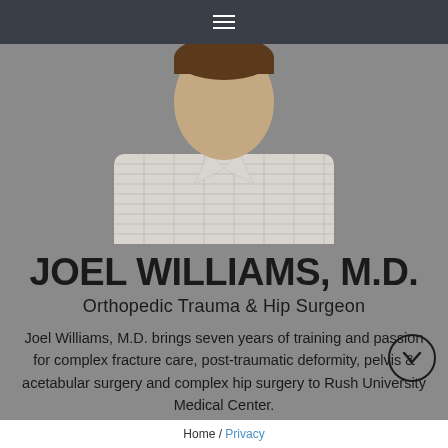≡
[Figure (photo): Headshot photo of Joel Williams, M.D., a man wearing a light checked shirt, shown from chest up against a grey background]
JOEL WILLIAMS, M.D.
Orthopedic Trauma & Hip Surgeon
Joel Williams, M.D. brings seven years of training and passion for complex fracture care, post-traumatic deformity, pelvis & acetabular surgery and complex hip surgery to Rush University Medical Center.
Home / Privacy